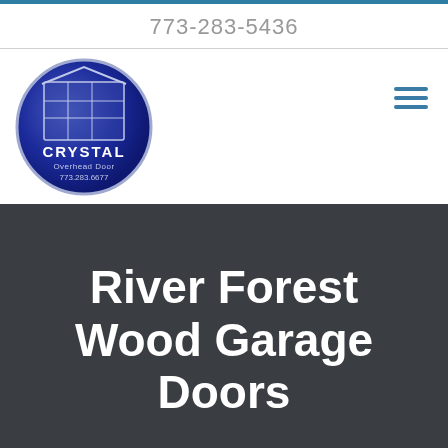773-283-5436
[Figure (logo): Crystal Overhead Door circular logo with blue background, garage door icon, text CRYSTAL Overhead Door 773.283.6677]
River Forest Wood Garage Doors